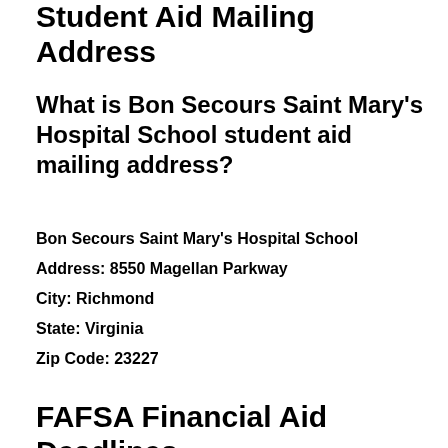Student Aid Mailing Address
What is Bon Secours Saint Mary's Hospital School student aid mailing address?
Bon Secours Saint Mary's Hospital School
Address: 8550 Magellan Parkway
City: Richmond
State: Virginia
Zip Code: 23227
FAFSA Financial Aid Deadlines